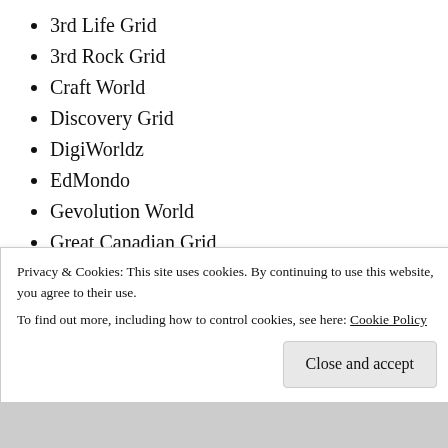3rd Life Grid
3rd Rock Grid
Craft World
Discovery Grid
DigiWorldz
EdMondo
Gevolution World
Great Canadian Grid
Infiniti Grid
Lost World
Metropolis
OSGrid
Party Destination Grid
Privacy & Cookies: This site uses cookies. By continuing to use this website, you agree to their use.
To find out more, including how to control cookies, see here: Cookie Policy
Close and accept